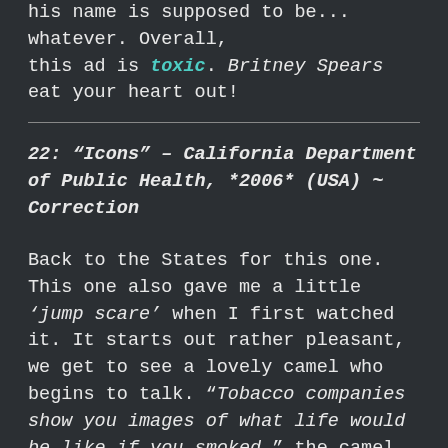his name is supposed to be... whatever. Overall, this ad is toxic. Britney Spears eat your heart out!
22: "Icons" – California Department of Public Health, *2006* (USA) ~ Correction
Back to the States for this one. This one also gave me a little 'jump scare' when I first watched it. It starts out rather pleasant, we get to see a lovely camel who begins to talk. "Tobacco companies show you images of what life would be like if you smoked..." the camel says. We then hear the camel's speech fade into that of a cowboy, who then magically appears from the camel's hump while the set changes from